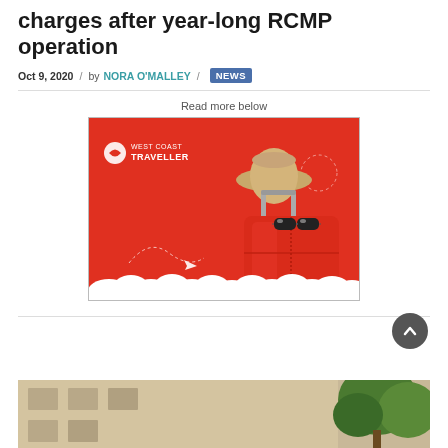charges after year-long RCMP operation
Oct 9, 2020 / by NORA O'MALLEY / NEWS
Read more below
[Figure (advertisement): West Coast Traveller advertisement showing a red suitcase with sunglasses and a straw hat against a red background with white clouds at the bottom]
[Figure (photo): Bottom portion of a building photo, partially visible, showing exterior of a structure with trees]